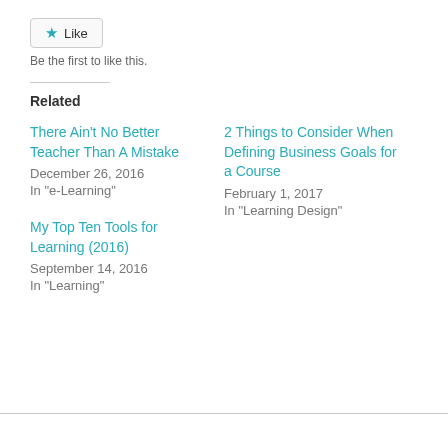[Figure (other): Like button with star icon and text 'Like']
Be the first to like this.
Related
There Ain't No Better Teacher Than A Mistake
December 26, 2016
In "e-Learning"
2 Things to Consider When Defining Business Goals for a Course
February 1, 2017
In "Learning Design"
My Top Ten Tools for Learning (2016)
September 14, 2016
In "Learning"